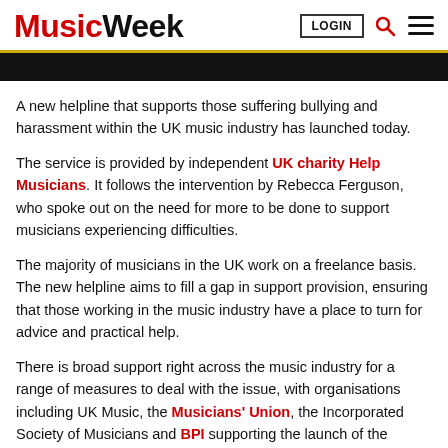Music Week | LOGIN
A new helpline that supports those suffering bullying and harassment within the UK music industry has launched today.
The service is provided by independent UK charity Help Musicians. It follows the intervention by Rebecca Ferguson, who spoke out on the need for more to be done to support musicians experiencing difficulties.
The majority of musicians in the UK work on a freelance basis. The new helpline aims to fill a gap in support provision, ensuring that those working in the music industry have a place to turn for advice and practical help.
There is broad support right across the music industry for a range of measures to deal with the issue, with organisations including UK Music, the Musicians' Union, the Incorporated Society of Musicians and BPI supporting the launch of the helpline.